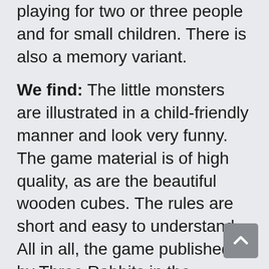playing for two or three people and for small children. There is also a memory variant.
We find: The little monsters are illustrated in a child-friendly manner and look very funny. The game material is of high quality, as are the beautiful wooden cubes. The rules are short and easy to understand. All in all, the game published by Three Rabbits in the Evening Sun is a great game for young school children.
Tip: Play along! Don't leave your children or grandchildren alone with the board game. Explain the rules of the game more often, invent little stories and anecdotes